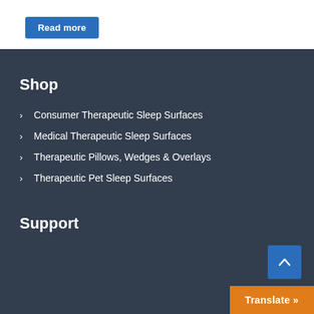Read more
Shop
Consumer Therapeutic Sleep Surfaces
Medical Therapeutic Sleep Surfaces
Therapeutic Pillows, Wedges & Overlays
Therapeutic Pet Sleep Surfaces
Support
Translate »